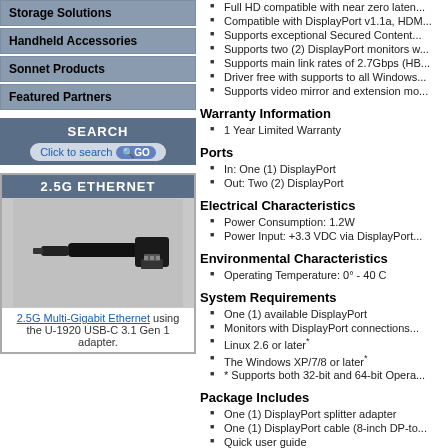Storage Solutions
Handheld Accessories
Sonnet Products
Featured Partners
SEARCH
Click to search GO
2.5G ETHERNET
[Figure (photo): USB-C to Ethernet adapter (2.5G Multi-Gigabit)]
2.5G Multi-Gigabit Ethernet using the U-1920 USB-C 3.1 Gen 1 adapter.
Full HD compatible with near zero laten...
Compatible with DisplayPort v1.1a, HDM...
Supports exceptional Secured Content...
Supports two (2) DisplayPort monitors w...
Supports main link rates of 2.7Gbps (HB...
Driver free with supports to all Windows...
Supports video mirror and extension mo...
Warranty Information
1 Year Limited Warranty
Ports
In: One (1) DisplayPort
Out: Two (2) DisplayPort
Electrical Characteristics
Power Consumption: 1.2W
Power Input: +3.3 VDC via DisplayPort...
Environmental Characteristics
Operating Temperature: 0° - 40 C
System Requirements
One (1) available DisplayPort
Monitors with DisplayPort connections...
Linux 2.6 or later*
The Windows XP/7/8 or later*
* Supports both 32-bit and 64-bit Opera...
Package Includes
One (1) DisplayPort splitter adapter
One (1) DisplayPort cable (8-inch DP-to...
Quick user guide
Applications
[Figure (screenshot): Applications diagram showing monitor setup with numbered display]